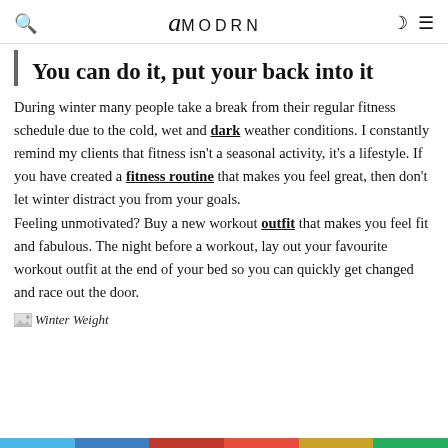amodrn
You can do it, put your back into it
During winter many people take a break from their regular fitness schedule due to the cold, wet and dark weather conditions. I constantly remind my clients that fitness isn't a seasonal activity, it's a lifestyle. If you have created a fitness routine that makes you feel great, then don't let winter distract you from your goals. Feeling unmotivated? Buy a new workout outfit that makes you feel fit and fabulous. The night before a workout, lay out your favourite workout outfit at the end of your bed so you can quickly get changed and race out the door.
Winter Weight